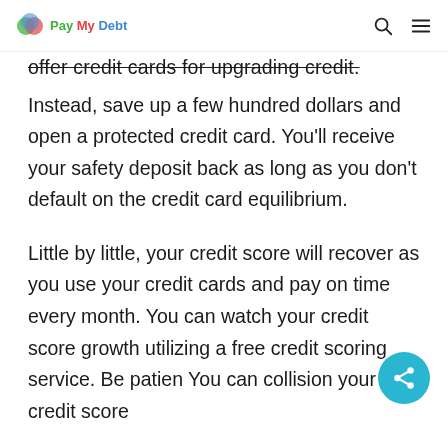Pay My Debt
offer credit cards for upgrading credit.
Instead, save up a few hundred dollars and open a protected credit card. You'll receive your safety deposit back as long as you don't default on the credit card equilibrium.
Little by little, your credit score will recover as you use your credit cards and pay on time every month. You can watch your credit score growth utilizing a free credit scoring service. Be patient. You can collision your credit score